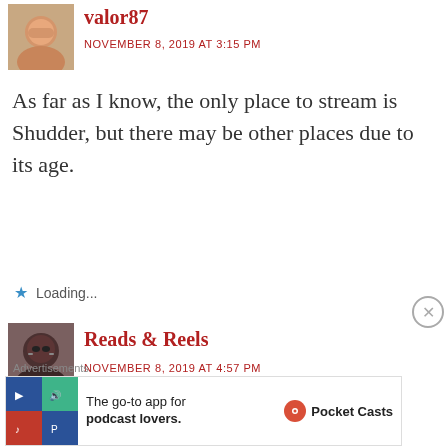[Figure (photo): Avatar photo of user valor87 - man with short hair smiling]
valor87
NOVEMBER 8, 2019 AT 3:15 PM
As far as I know, the only place to stream is Shudder, but there may be other places due to its age.
Loading...
[Figure (photo): Avatar photo of user Reads & Reels - woman with dark hair and glasses]
Reads & Reels
NOVEMBER 8, 2019 AT 4:57 PM
Advertisements
[Figure (other): Pocket Casts advertisement: The go-to app for podcast lovers.]